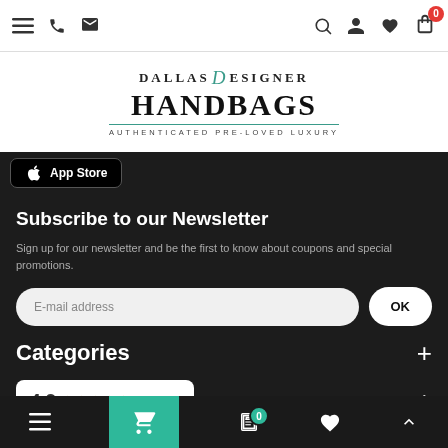Navigation bar with menu, phone, email icons and search, user, heart, cart icons with badge 0
[Figure (logo): Dallas Designer Handbags logo - AUTHENTICATED PRE-LOVED LUXURY]
App Store
Subscribe to our Newsletter
Sign up for our newsletter and be the first to know about coupons and special promotions.
E-mail address
Categories
4.9 ★★★★★ Google Customer Reviews
Bottom navigation bar with menu, cart, basket (0), heart, up-arrow icons